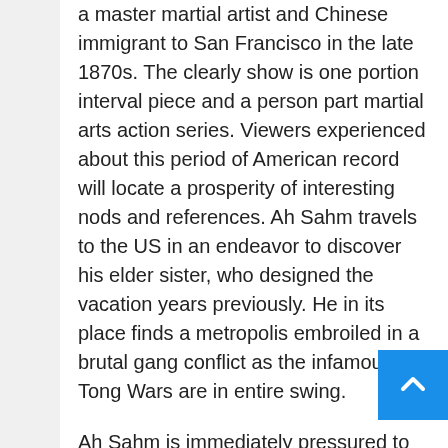a master martial artist and Chinese immigrant to San Francisco in the late 1870s. The clearly show is one portion interval piece and a person part martial arts action series. Viewers experienced about this period of American record will locate a prosperity of interesting nods and references. Ah Sahm travels to the US in an endeavor to discover his elder sister, who designed the vacation years previously. He in its place finds a metropolis embroiled in a brutal gang conflict as the infamous Tong Wars are in entire swing.
Ah Sahm is immediately pressured to provide just one of the most impressive gangs in the city, turning his capabilities in direction of violence on a person else's behalf. Chinese immigration is ha opposed by the city's white population and rac against foreign nationals is a standard subject. The